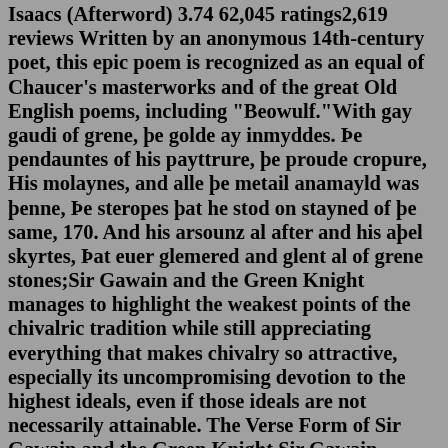Isaacs (Afterword) 3.74 62,045 ratings2,619 reviews Written by an anonymous 14th-century poet, this epic poem is recognized as an equal of Chaucer's masterworks and of the great Old English poems, including "Beowulf."With gay gaudi of grene, þe golde ay inmyddes. Þe pendauntes of his payttrure, þe proude cropure, His molaynes, and alle þe metail anamayld was þenne, Þe steropes þat he stod on stayned of þe same, 170. And his arsounz al after and his aþel skyrtes, Þat euer glemered and glent al of grene stones;Sir Gawain and the Green Knight manages to highlight the weakest points of the chivalric tradition while still appreciating everything that makes chivalry so attractive, especially its uncompromising devotion to the highest ideals, even if those ideals are not necessarily attainable. The Verse Form of Sir Gawain and the Green Knight Sir Gawain accepts the challenge and decapitates the knight – but the mysterious warrior cheats death and vanishes, bearing his head with him. The following winter Gawain sets out to find the Knight in the wild